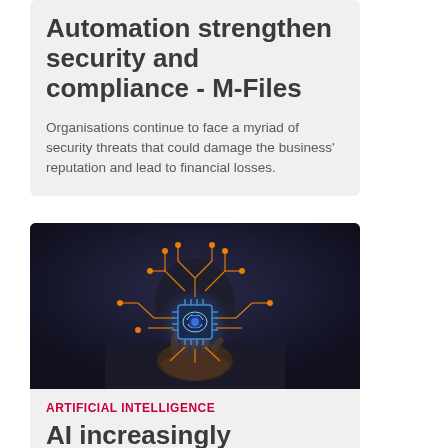Automation strengthen security and compliance - M-Files
Organisations continue to face a myriad of security threats that could damage the business' reputation and lead to financial losses.
[Figure (photo): A person holding a glowing AI brain chip with circuit board connections and light trails, dark background, technology concept]
ARTIFICIAL INTELLIGENCE
AI increasingly